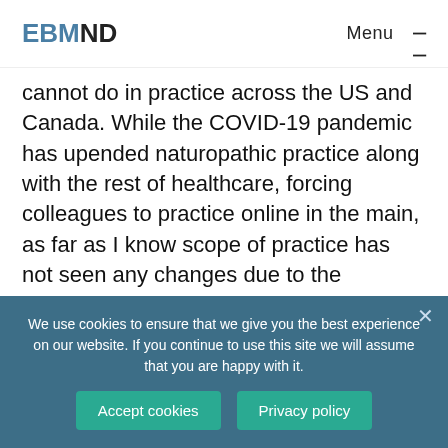EBMND  Menu
cannot do in practice across the US and Canada. While the COVID-19 pandemic has upended naturopathic practice along with the rest of healthcare, forcing colleagues to practice online in the main, as far as I know scope of practice has not seen any changes due to the pandemic. (And as far as I know, NDs have not been asked to step in for conventional medical providers in any capacity, though I do know of some who are
We use cookies to ensure that we give you the best experience on our website. If you continue to use this site we will assume that you are happy with it.
Accept cookies  Privacy policy